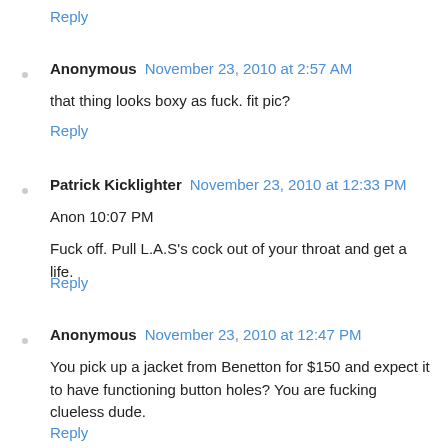Reply
Anonymous  November 23, 2010 at 2:57 AM
that thing looks boxy as fuck. fit pic?
Reply
Patrick Kicklighter  November 23, 2010 at 12:33 PM
Anon 10:07 PM
Fuck off. Pull L.A.S's cock out of your throat and get a life.
Reply
Anonymous  November 23, 2010 at 12:47 PM
You pick up a jacket from Benetton for $150 and expect it to have functioning button holes? You are fucking clueless dude.
Reply